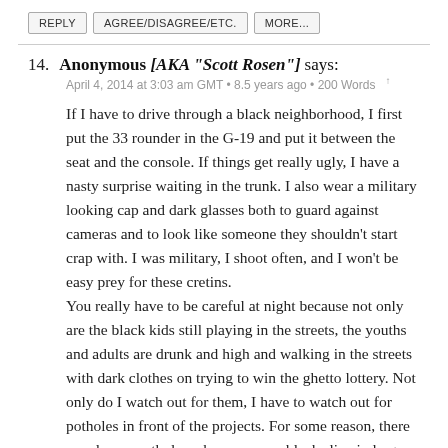REPLY   AGREE/DISAGREE/ETC.   MORE...
14. Anonymous [AKA "Scott Rosen"] says:
April 4, 2014 at 3:03 am GMT • 8.5 years ago • 200 Words ↑

If I have to drive through a black neighborhood, I first put the 33 rounder in the G-19 and put it between the seat and the console. If things get really ugly, I have a nasty surprise waiting in the trunk. I also wear a military looking cap and dark glasses both to guard against cameras and to look like someone they shouldn't start crap with. I was military, I shoot often, and I won't be easy prey for these cretins.
You really have to be careful at night because not only are the black kids still playing in the streets, the youths and adults are drunk and high and walking in the streets with dark clothes on trying to win the ghetto lottery. Not only do I watch out for them, I have to watch out for potholes in front of the projects. For some reason, there are always potholes wherever poor blacks live in large numbers. Me, I think they're out there digging up the street, since they potholes are back weeks after